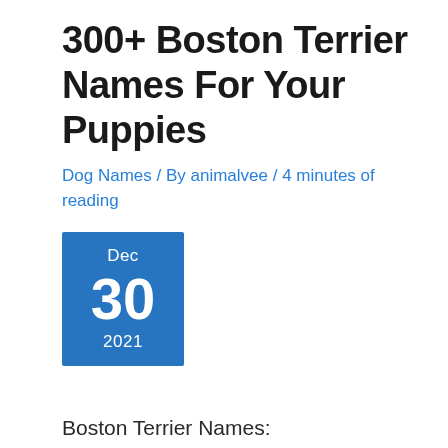300+ Boston Terrier Names For Your Puppies
Dog Names / By animalvee / 4 minutes of reading
[Figure (infographic): Blue calendar date box showing Dec 30 2021]
Boston Terrier Names: Congratulations on adopting your first Boston Terrier. After purchasing or adopting your new companion, the next thing will be to name it.  Searching for th…